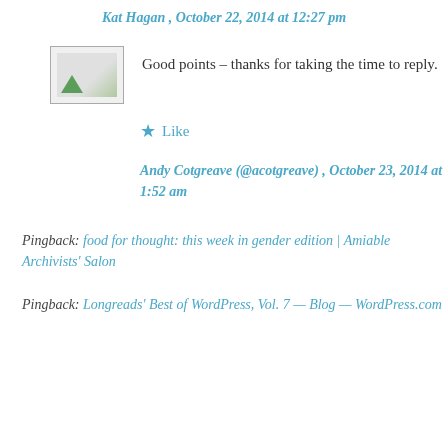Kat Hagan , October 22, 2014 at 12:27 pm
[Figure (photo): Avatar placeholder image with green triangle element]
Good points – thanks for taking the time to reply.
★ Like
Andy Cotgreave (@acotgreave) , October 23, 2014 at 1:52 am
Pingback: food for thought: this week in gender edition | Amiable Archivists' Salon
Pingback: Longreads' Best of WordPress, Vol. 7 — Blog — WordPress.com